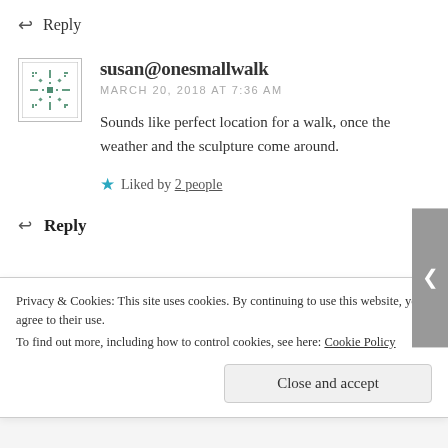↩ Reply
[Figure (illustration): Avatar/gravatar icon with a snowflake-like geometric pattern in green on white background with a thin border]
susan@onesmallwalk
MARCH 20, 2018 AT 7:36 AM
Sounds like perfect location for a walk, once the weather and the sculpture come around.
Liked by 2 people
↩ Reply
Privacy & Cookies: This site uses cookies. By continuing to use this website, you agree to their use.
To find out more, including how to control cookies, see here: Cookie Policy
Close and accept